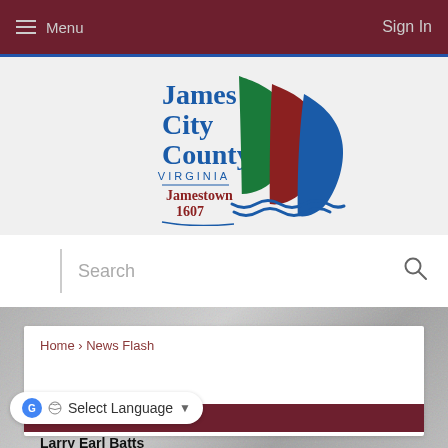Menu   Sign In
[Figure (logo): James City County Virginia – Jamestown 1607 logo with sail-shaped graphic in green, red, and blue colors]
Search
[Figure (photo): Grayscale hero banner background image]
Home › News Flash
Select Language ▾
(partially obscured maroon bar with text)
Larry Earl Batts